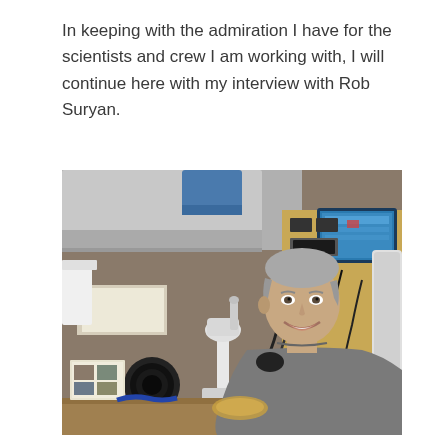In keeping with the admiration I have for the scientists and crew I am working with, I will continue here with my interview with Rob Suryan.
[Figure (photo): A smiling middle-aged man with grey hair sits at a laboratory workbench aboard a research vessel, with a microscope in front of him, scientific instruments, cables, equipment panels, and a computer monitor visible in the background.]